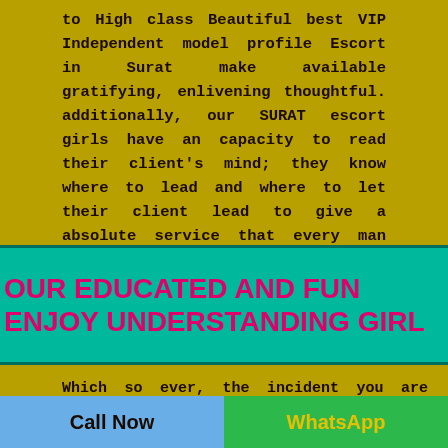to High class Beautiful best VIP Independent model profile Escort in Surat make available gratifying, enlivening thoughtful. additionally, our SURAT escort girls have an capacity to read their client's mind; they know where to lead and where to let their client lead to give a absolute service that every man fancy.
OUR EDUCATED AND FUN ENJOY UNDERSTANDING GIRL
Which so ever, the incident you are planning to be there or visit, our SURAT Asian escorts will serve as a remarkable chaperon. Whether it is a commercial, social, or production event or conference, the SURAT Escort can
Call Now | WhatsApp